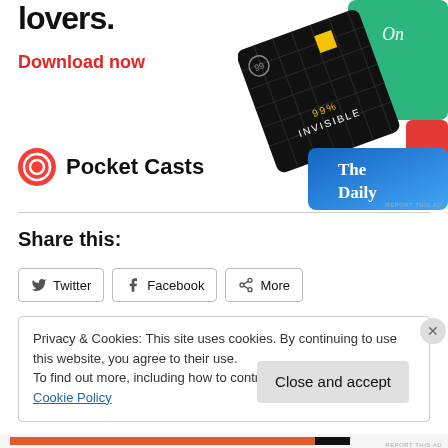[Figure (illustration): Pocket Casts advertisement showing podcast app artwork including '99% Invisible' and 'The Daily' podcast covers. Text reads 'lovers.' and 'Download now' in red. Pocket Casts logo shown.]
Share this:
Twitter  Facebook  More
Privacy & Cookies: This site uses cookies. By continuing to use this website, you agree to their use.
To find out more, including how to control cookies, see here: Cookie Policy
Close and accept